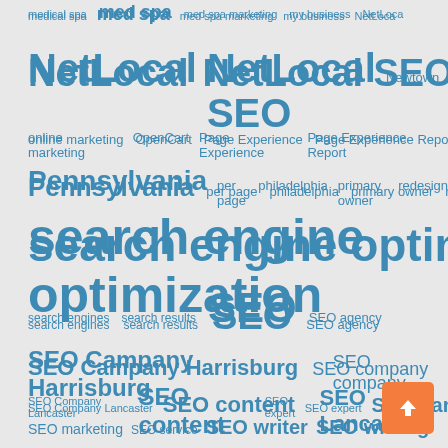[Figure (other): Tag cloud with SEO and digital marketing related terms in varying font sizes, all in blue-teal color on a light gray background. Terms include: medical spa, med spa, med spa marketing, my business, NetLoca, NetLocal, NetLocal SEO, Newtown, online, online marketing, OpenCart, Page Experience, Page Experience Report, Pennsylvania, per page, philadelphia, primary owner, redesign, search engine optimization, search engines, search results, SEO, SEO agency, SEO Campany Harrisburg, SEO company, SEO Company Lancaster, SEO content, SEO expert, SEO Lancaster, SEO marketing, SEO service, SEO writer, SEO writing, showing up, social media, success, two listings]